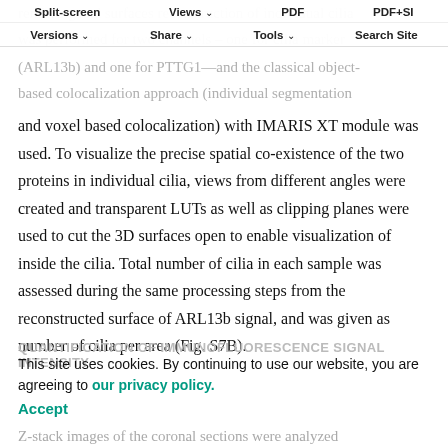rendering and surfaces reconstruction of individual cilia was performed for two channels – one for cilia marker (ARL13b) and one for PTTG1—and the classical object-based colocalization approach (individual segmentation
Split-screen  Views  PDF  PDF+SI  Versions  Share  Tools  Search Site
and voxel based colocalization) with IMARIS XT module was used. To visualize the precise spatial co-existence of the two proteins in individual cilia, views from different angles were created and transparent LUTs as well as clipping planes were used to cut the 3D surfaces open to enable visualization of inside the cilia. Total number of cilia in each sample was assessed during the same processing steps from the reconstructed surface of ARL13b signal, and was given as number of cilia per area (Fig. S7B).
This site uses cookies. By continuing to use our website, you are agreeing to our privacy policy. Accept
QUANTIFICATION OF IMMUNOFLUORESCENCE SIGNAL INTENSITY
Z-stack images of the coronal sections were analyzed